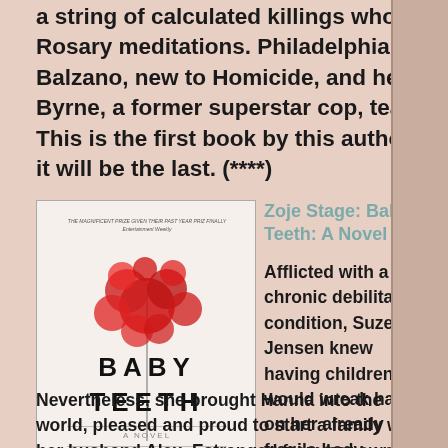a string of calculated killings whose themes follow the Rosary meditations. Philadelphia detective Jessica Balzano, new to Homicide, and her new partner Kevin Byrne, a former superstar cop, team up to find the killer. This is the first book by this author I have read. I don't think it will be the last. (****)
[Figure (illustration): Book cover for 'Baby Teeth: A Novel' by Zoje Stage, showing stylized red rose-like shapes on a stem against a white/light background with the title text BABY TEETH in bold black letters]
Zoje Stage: Baby Teeth: A Novel
Afflicted with a chronic debilitating condition, Suzette Jensen knew having children would wreak havoc on her already fragile body. Nevertheless, she brought Hanna into the world, pleased and proud to start a family with her husband Alex. Estranged from her own mother, Hanna proves to be a difficult child. Now seven-years-old, she has yet to utter a word, despite being able